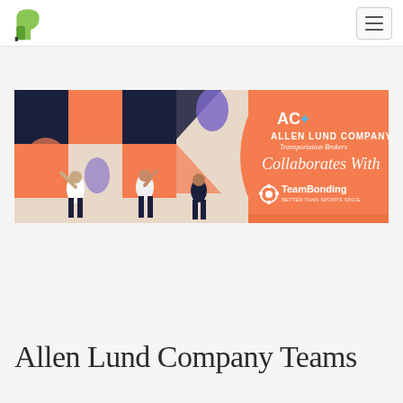TeamBonding website navigation header with logo and hamburger menu
[Figure (illustration): Promotional banner image: Allen Lund Company Transportation Brokers Collaborates With TeamBonding. Left side shows geometric abstract illustration with people in navy and orange shapes on beige background. Right side is an orange semicircle with white text showing Allen Lund Company logo, 'Transportation Brokers', 'Collaborates With', and TeamBonding logo with gear icon.]
Allen Lund Company Teams